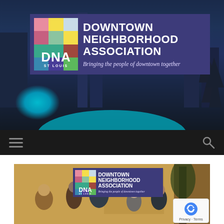[Figure (screenshot): Website screenshot of Downtown Neighborhood Association (DNA) St. Louis. Top section shows the organization's banner with city night skyline background, the DNA logo (colorful grid with 'DNA ST. LOUIS' text), organization name 'DOWNTOWN NEIGHBORHOOD ASSOCIATION' and tagline 'Bringing the people of downtown together' on dark purple background. Below is a dark navigation bar with hamburger menu and search icon. A second section shows a photo of people at an outdoor event with the DNA logo sign visible.]
DOWNTOWN NEIGHBORHOOD ASSOCIATION
Bringing the people of downtown together